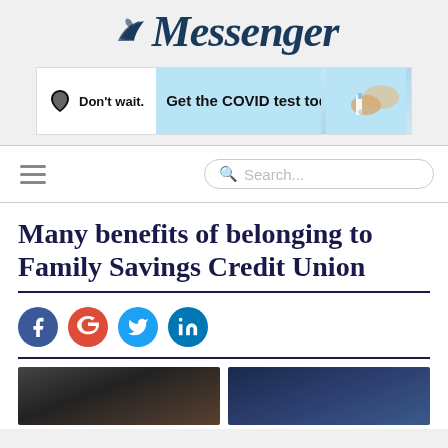Messenger
[Figure (other): Advertisement banner: Alabama state icon, 'Don't wait. Get the COVID test today.' with image of hands holding COVID test kit on blue background]
[Figure (screenshot): Navigation bar with hamburger menu icon and search box with placeholder 'Search...']
Many benefits of belonging to Family Savings Credit Union
[Figure (other): Social media share icons: Facebook (blue), Google+ (red), Twitter (cyan), LinkedIn (blue)]
[Figure (photo): Two photo thumbnails at bottom of page showing partial images related to the article]